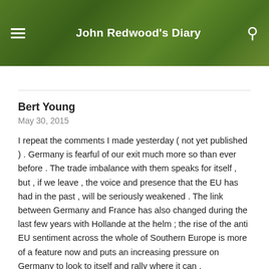John Redwood's Diary
Bert Young
May 30, 2015
I repeat the comments I made yesterday ( not yet published ) . Germany is fearful of our exit much more so than ever before . The trade imbalance with them speaks for itself , but , if we leave , the voice and presence that the EU has had in the past , will be seriously weakened . The link between Germany and France has also changed during the last few years with Hollande at the helm ; the rise of the anti EU sentiment across the whole of Southern Europe is more of a feature now and puts an increasing pressure on Germany to look to itself and rally where it can .